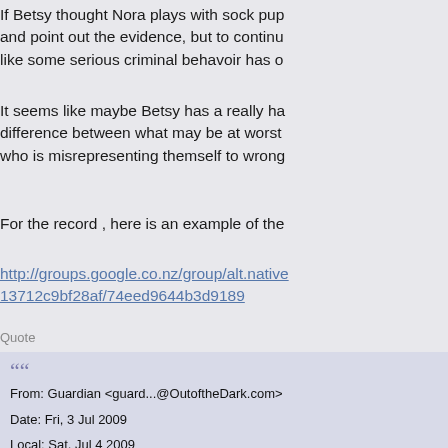If Betsy thought Nora plays with sock pup... and point out the evidence, but to continu... like some serious criminal behavoir has o...
It seems like maybe Betsy has a really ha... difference between what may be at worst... who is misrepresenting themself to wrong...
For the record , here is an example of the...
http://groups.google.co.nz/group/alt.native... 13712c9bf28af/74eed9644b3d9189
Quote
From: Guardian <guard...@OutoftheDark.com>
Date: Fri, 3 Jul 2009
Local: Sat, Jul 4 2009
Subject: Re: Norah-Christine Runningwolf is BU...

Hello again Runningwolf/James/Anuh1/Bravesh...
I did not want you or anyone else to think I had f... nooooooooooooo, far from it.

When you aligned yourself with a sexual pred... boost on my priority list. When someone sinks... EXACTLY what I am dealing with, so I decided to...